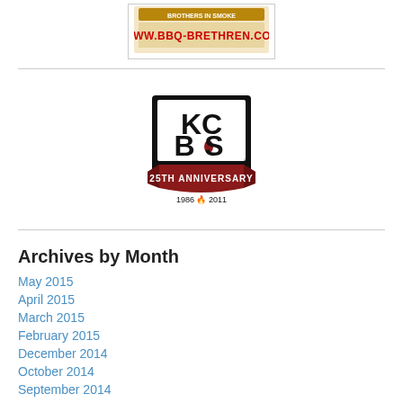[Figure (logo): BBQ Brethren website logo banner with text WWW.BBQ-BRETHREN.COM]
[Figure (logo): KCBS 25th Anniversary logo shield, text KC BS 25TH ANNIVERSARY 1986 2011]
Archives by Month
May 2015
April 2015
March 2015
February 2015
December 2014
October 2014
September 2014